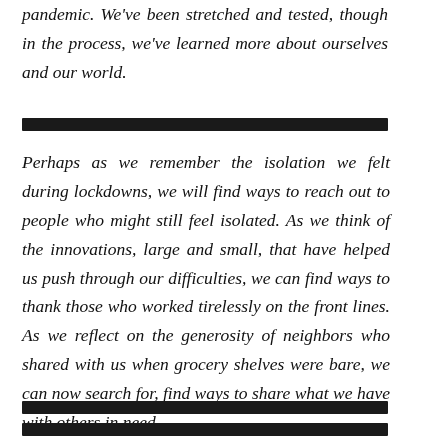pandemic. We've been stretched and tested, though in the process, we've learned more about ourselves and our world.
[redacted line]
Perhaps as we remember the isolation we felt during lockdowns, we will find ways to reach out to people who might still feel isolated. As we think of the innovations, large and small, that have helped us push through our difficulties, we can find ways to thank those who worked tirelessly on the front lines. As we reflect on the generosity of neighbors who shared with us when grocery shelves were bare, we can now search for, find ways to share what we have with others in need.
[redacted lines]